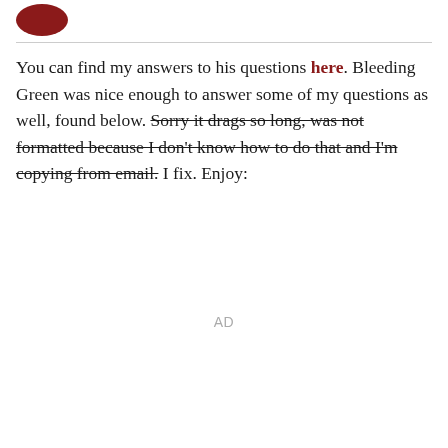[Figure (logo): Circular dark red logo/avatar at top left]
You can find my answers to his questions here. Bleeding Green was nice enough to answer some of my questions as well, found below. Sorry it drags so long, was not formatted because I don't know how to do that and I'm copying from email. I fix. Enjoy:
AD